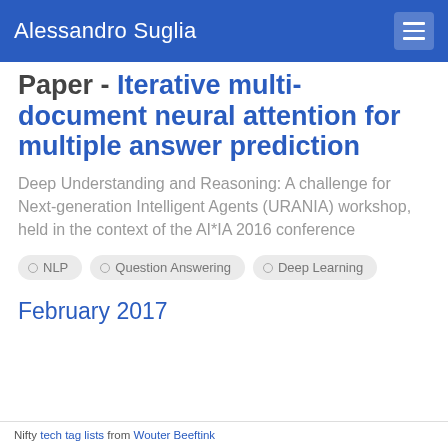Alessandro Suglia
Paper - Iterative multi-document neural attention for multiple answer prediction
Deep Understanding and Reasoning: A challenge for Next-generation Intelligent Agents (URANIA) workshop, held in the context of the AI*IA 2016 conference
NLP
Question Answering
Deep Learning
February 2017
Nifty tech tag lists from Wouter Beeftink